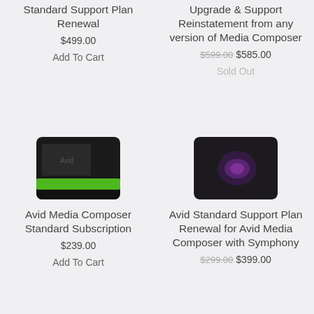Standard Support Plan Renewal
$499.00
Add To Cart
Upgrade & Support Reinstatement from any version of Media Composer
$599.00 $585.00
Sold Out
[Figure (photo): Avid Media Composer product box with green stripe on dark background]
Avid Media Composer Standard Subscription
$239.00
Add To Cart
[Figure (photo): Avid software product icon with purple design on dark background]
Avid Standard Support Plan Renewal for Avid Media Composer with Symphony
$299.00 $399.00